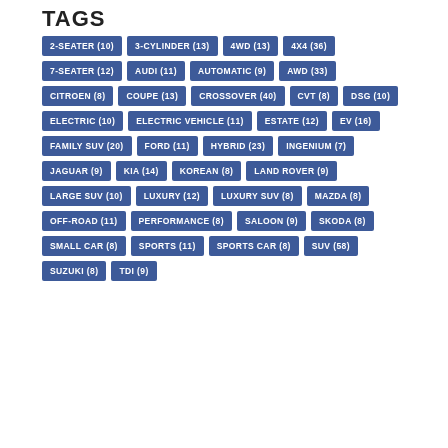TAGS
2-SEATER (10)
3-CYLINDER (13)
4WD (13)
4X4 (36)
7-SEATER (12)
AUDI (11)
AUTOMATIC (9)
AWD (33)
CITROEN (8)
COUPE (13)
CROSSOVER (40)
CVT (8)
DSG (10)
ELECTRIC (10)
ELECTRIC VEHICLE (11)
ESTATE (12)
EV (16)
FAMILY SUV (20)
FORD (11)
HYBRID (23)
INGENIUM (7)
JAGUAR (9)
KIA (14)
KOREAN (8)
LAND ROVER (9)
LARGE SUV (10)
LUXURY (12)
LUXURY SUV (8)
MAZDA (8)
OFF-ROAD (11)
PERFORMANCE (8)
SALOON (9)
SKODA (8)
SMALL CAR (8)
SPORTS (11)
SPORTS CAR (8)
SUV (58)
SUZUKI (8)
TDI (9)